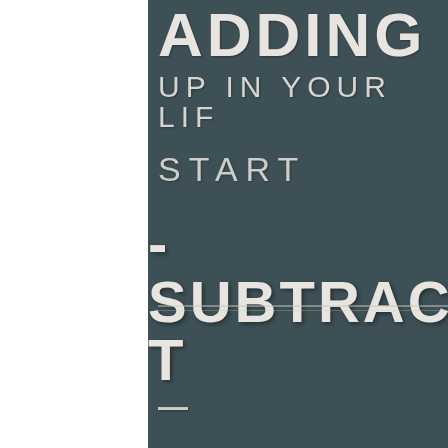[Figure (illustration): Cropped motivational quote sign on dark teal/slate background with distressed white text reading partial words: 'ADDING' (top, cropped), 'UP IN YOUR LIF[E]' (partially visible), 'START', '-SUBTRACT[ING]' (partially visible), a horizontal divider line, and a partial dash at bottom. Left portion is white/blank.]